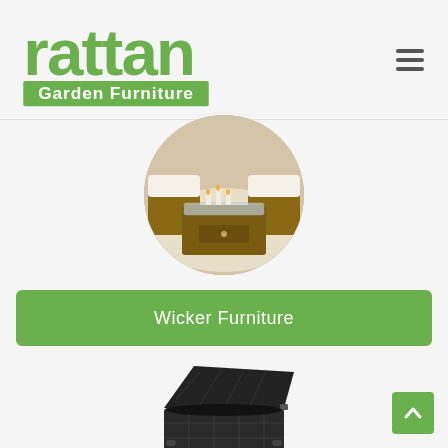[Figure (logo): Rattan Garden Furniture logo — green stylized text 'rattan' above a green rectangle containing white text 'Garden Furniture']
[Figure (photo): Circular cropped photo of wicker/rattan furniture set including chairs with white cushions and a coffee table with glass top on a beige rug]
Wicker Furniture
[Figure (photo): Photo of a dark grey/black wicker/rattan storage box with open lid, showing the interior]